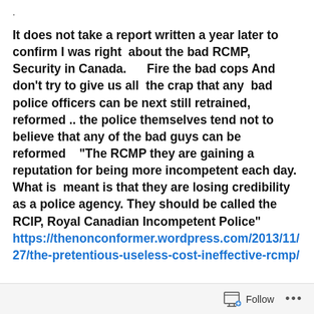.
It does not take a report written a year later to confirm I was right  about the bad RCMP, Security in Canada.      Fire the bad cops And don’t try to give us all  the crap that any  bad police officers can be next still retrained, reformed .. the police themselves tend not to believe that any of the bad guys can be reformed    “The RCMP they are gaining a reputation for being more incompetent each day. What is  meant is that they are losing credibility as a police agency. They should be called the RCIP, Royal Canadian Incompetent Police” https://thenonconformer.wordpress.com/2013/11/27/the-pretentious-useless-cost-ineffective-rcmp/
Follow •••